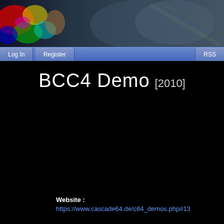[Figure (screenshot): Colorful decorative banner header with abstract/game imagery including bright colors on left and darker tones on right]
Log In   Register   RSS
BCC4 Demo [2010]
Website : https://www.cascade64.de/c64_demos.php#13